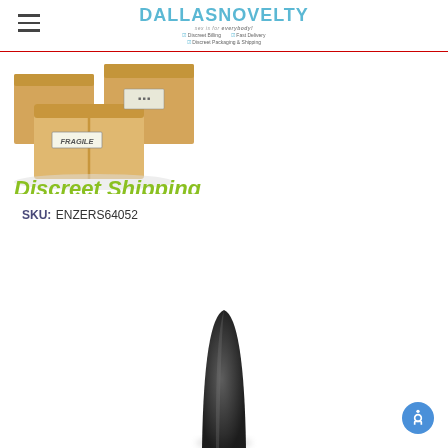Dallas Novelty — sex is for everybody! — Discreet Billing, Fast Delivery, Discreet Packaging & Shipping
[Figure (illustration): Discreet Shipping promotional image: cardboard boxes labeled FRAGILE with green italic text 'Discreet Shipping' below]
SKU: ENZERS64052
[Figure (photo): Partial product photo showing top portion of a dark/black cylindrical product against white background]